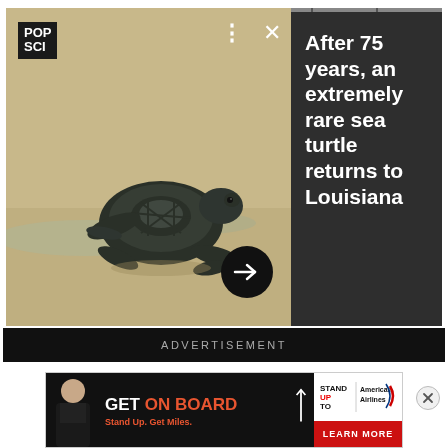[Figure (photo): Screenshot of a PopSci article card showing a baby sea turtle crawling on sand, with headline text beside it on a dark background. Controls include dots menu, close button, and forward arrow. Progress bar at top.]
ADVERTISEMENT
[Figure (photo): American Airlines 'Get On Board' advertisement featuring a person in a t-shirt, Stand Up To Cancer logo, American Airlines branding, and 'Stand Up. Get Miles.' tagline with LEARN MORE button.]